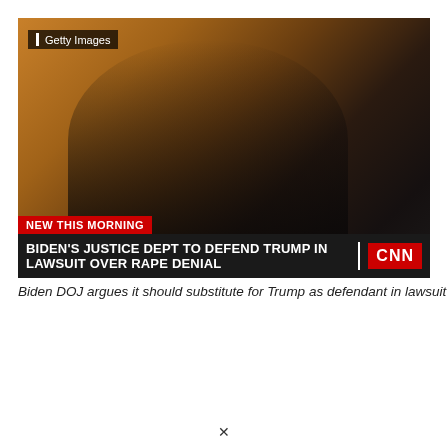[Figure (screenshot): CNN news screenshot showing a person in a black suit speaking into a microphone against a warm brown background. Lower thirds show 'NEW THIS MORNING' in red and headline 'BIDEN'S JUSTICE DEPT TO DEFEND TRUMP IN LAWSUIT OVER RAPE DENIAL' with CNN logo. Getty Images watermark in top left.]
Biden DOJ argues it should substitute for Trump as defendant in lawsuit